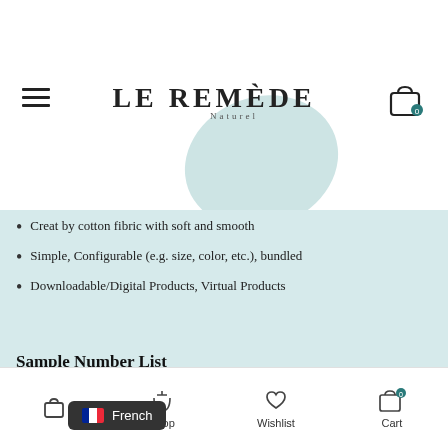[Figure (logo): Le Remède Naturel logo with text and teal leaf shape in background]
Creat by cotton fibric with soft and smooth
Simple, Configurable (e.g. size, color, etc.), bundled
Downloadable/Digital Products, Virtual Products
Sample Number List
Shop  Wishlist  Cart